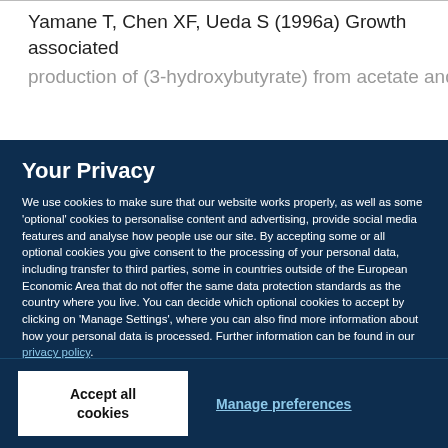Yamane T, Chen XF, Ueda S (1996a) Growth associated
production of... [partially visible]
Your Privacy
We use cookies to make sure that our website works properly, as well as some ‘optional’ cookies to personalise content and advertising, provide social media features and analyse how people use our site. By accepting some or all optional cookies you give consent to the processing of your personal data, including transfer to third parties, some in countries outside of the European Economic Area that do not offer the same data protection standards as the country where you live. You can decide which optional cookies to accept by clicking on ‘Manage Settings’, where you can also find more information about how your personal data is processed. Further information can be found in our privacy policy.
Accept all cookies
Manage preferences